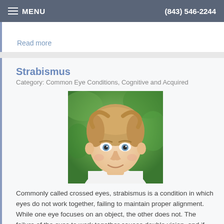MENU  (843) 546-2244
Read more
Strabismus
Category: Common Eye Conditions, Cognitive and Acquired
[Figure (photo): Portrait photo of a young boy with light brown hair and blue eyes, wearing a white shirt, smiling slightly, with a green outdoor background.]
Commonly called crossed eyes, strabismus is a condition in which eyes do not work together, failing to maintain proper alignment. While one eye focuses on an object, the other does not. The failure of the eyes to work together causes double vision, and if untreated can lead to an extreme reduction of
Read more